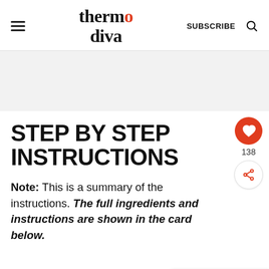thermo diva | SUBSCRIBE
STEP BY STEP INSTRUCTIONS
Note: This is a summary of the instructions. The full ingredients and instructions are shown in the card below.